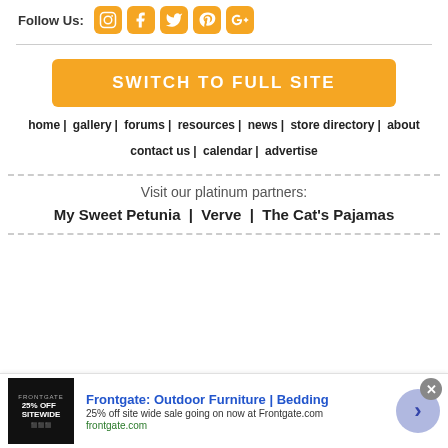Follow Us:
[Figure (logo): Social media icons: Instagram, Facebook, Twitter, Pinterest, Google+]
[Figure (illustration): Orange button with text SWITCH TO FULL SITE]
home | gallery | forums | resources | news | store directory | about
contact us | calendar | advertise
Visit our platinum partners:
My Sweet Petunia  |  Verve  |  The Cat's Pajamas
[Figure (screenshot): Advertisement: Frontgate: Outdoor Furniture | Bedding. 25% off site wide sale going on now at Frontgate.com. frontgate.com]